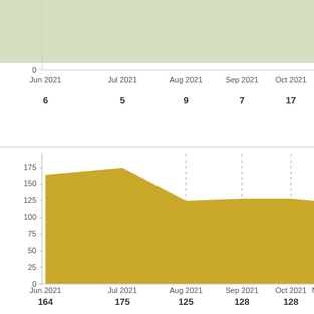[Figure (area-chart): Partial area chart (green/light) showing top portion cut off, with x-axis labels and data values below]
[Figure (area-chart): Bottom area chart]